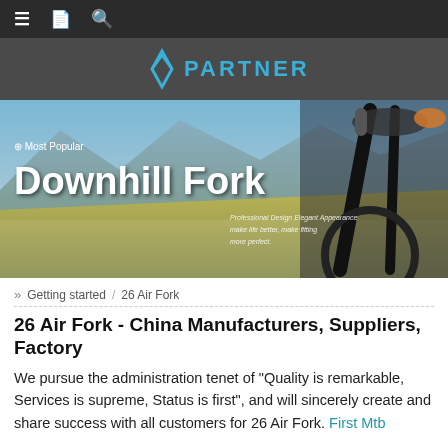≡  [book icon]  [search icon]
[Figure (logo): Partner brand logo with blue diamond/chevron icon and the word PARTNER in bold blue letters]
[Figure (photo): Hero banner image showing a mountain bike against a scenic mountain landscape. Overlaid text reads: '⊕ Most Popular' and 'Downhill Fork' in large white bold text. Subtitle text: 'Professional Design Elegant Appearance make life better, make fitting more perfect.']
» Getting started / 26 Air Fork
26 Air Fork - China Manufacturers, Suppliers, Factory
We pursue the administration tenet of "Quality is remarkable, Services is supreme, Status is first", and will sincerely create and share success with all customers for 26 Air Fork. First Mtb